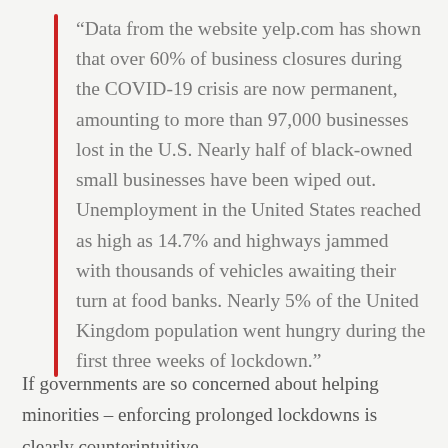“Data from the website yelp.com has shown that over 60% of business closures during the COVID-19 crisis are now permanent, amounting to more than 97,000 businesses lost in the U.S. Nearly half of black-owned small businesses have been wiped out. Unemployment in the United States reached as high as 14.7% and highways jammed with thousands of vehicles awaiting their turn at food banks. Nearly 5% of the United Kingdom population went hungry during the first three weeks of lockdown.”
If governments are so concerned about helping minorities – enforcing prolonged lockdowns is clearly counterintuitive.